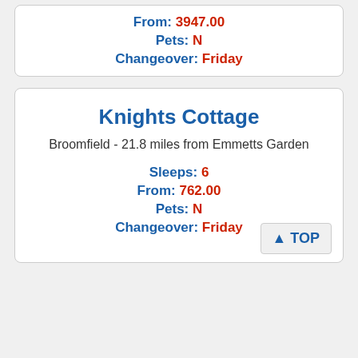From: 3947.00
Pets: N
Changeover: Friday
Knights Cottage
Broomfield - 21.8 miles from Emmetts Garden
Sleeps: 6
From: 762.00
Pets: N
Changeover: Friday